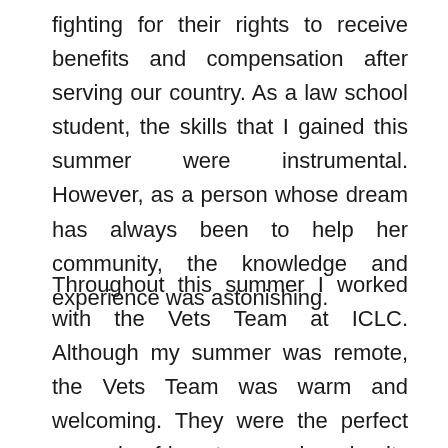fighting for their rights to receive benefits and compensation after serving our country. As a law school student, the skills that I gained this summer were instrumental. However, as a person whose dream has always been to help her community, the knowledge and experience was astonishing.
Throughout this summer I worked with the Vets Team at ICLC. Although my summer was remote, the Vets Team was warm and welcoming. They were the perfect example of how teamwork and unity foster great results. I was able to draft two briefs to submit to the VA, including a discharge